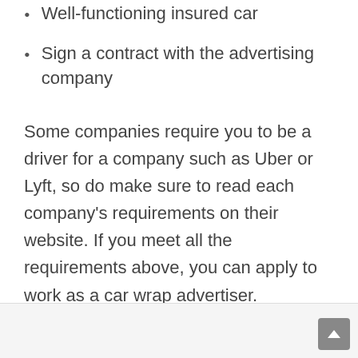Well-functioning insured car
Sign a contract with the advertising company
Some companies require you to be a driver for a company such as Uber or Lyft, so do make sure to read each company's requirements on their website. If you meet all the requirements above, you can apply to work as a car wrap advertiser.